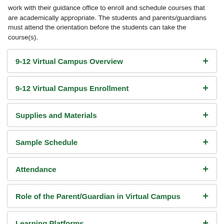work with their guidance office to enroll and schedule courses that are academically appropriate. The students and parents/guardians must attend the orientation before the students can take the course(s).
9-12 Virtual Campus Overview
9-12 Virtual Campus Enrollment
Supplies and Materials
Sample Schedule
Attendance
Role of the Parent/Guardian in Virtual Campus
Learning Platforms